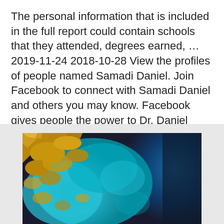The personal information that is included in the full report could contain schools that they attended, degrees earned, … 2019-11-24 2018-10-28 View the profiles of people named Samadi Daniel. Join Facebook to connect with Samadi Daniel and others you may know. Facebook gives people the power to Dr. Daniel Samadi was recommended to me by my primary care physician.
[Figure (photo): Satellite or aerial image showing landmasses with golden/brown tones and turquoise-blue water/ocean areas, transitioning to dark blue on the right side.]